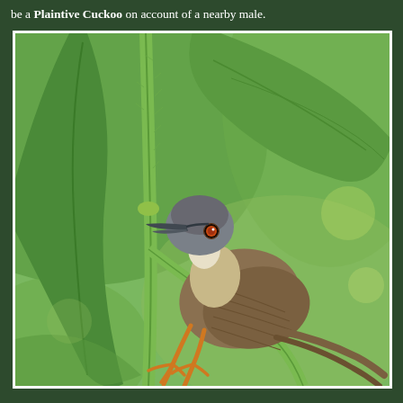be a Plaintive Cuckoo on account of a nearby male.
[Figure (photo): A small brown bird with gray head, orange-red eye, white throat, olive-brown body with darker wing feathers, and orange-yellow feet, perched on a green plant stem amid large green tropical leaves.]